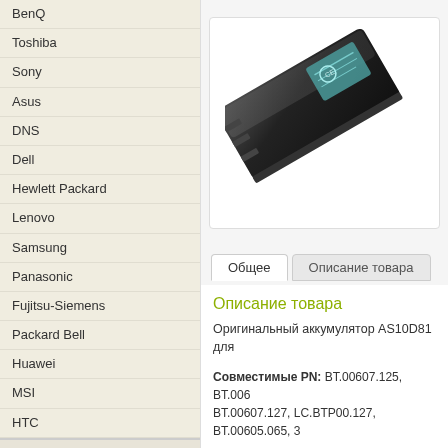BenQ
Toshiba
Sony
Asus
DNS
Dell
Hewlett Packard
Lenovo
Samsung
Panasonic
Fujitsu-Siemens
Packard Bell
Huawei
MSI
HTC
Блоки питания
Видеокарты для ноутбуков
Клавиатуры для ноутбуков
Лампы для проекторов
Лампы медицинские
[Figure (photo): Laptop battery AS10D81, black, angular shape viewed from above at angle]
Общее | Описание товара
Описание товара
Оригинальный аккумулятор AS10D81 для
Совместимые PN: BT.00607.125, BT.00607.127, LC.BTP00.127, BT.00605.065, 3...